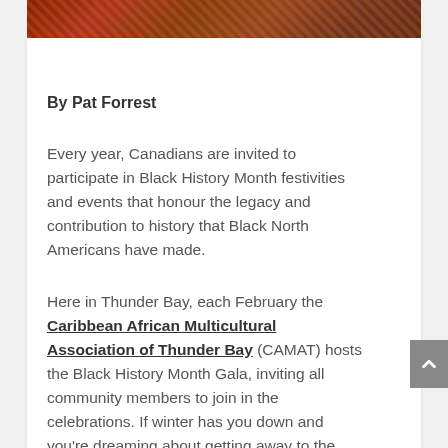[Figure (photo): Decorative image bar at top with brown/red textured background, possibly depicting fabric or natural material]
By Pat Forrest
Every year, Canadians are invited to participate in Black History Month festivities and events that honour the legacy and contribution to history that Black North Americans have made.
Here in Thunder Bay, each February the Caribbean African Multicultural Association of Thunder Bay (CAMAT) hosts the Black History Month Gala, inviting all community members to join in the celebrations. If winter has you down and you're dreaming about getting away to the tropics, this event just may be for you. The 7th annual gala, taking place on February 25 at the Italian Cultural Centre starting at 5 pm, is going to be a